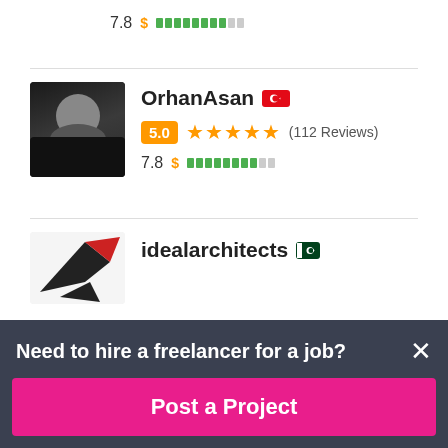7.8  $ ████████░░ (top section)
OrhanAsan — 5.0 ★★★★★ (112 Reviews) — 7.8 $
idealarchitects
Need to hire a freelancer for a job?
Post a Project